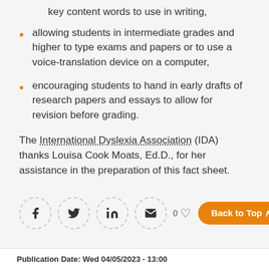key content words to use in writing,
allowing students in intermediate grades and higher to type exams and papers or to use a voice-translation device on a computer,
encouraging students to hand in early drafts of research papers and essays to allow for revision before grading.
The International Dyslexia Association (IDA) thanks Louisa Cook Moats, Ed.D., for her assistance in the preparation of this fact sheet.
[Figure (infographic): Social sharing icons: Facebook, Twitter, LinkedIn, Email. Back to Top button. Heart/like icon with count 0.]
Publication Date: Wed 04/05/2023 - 13:00